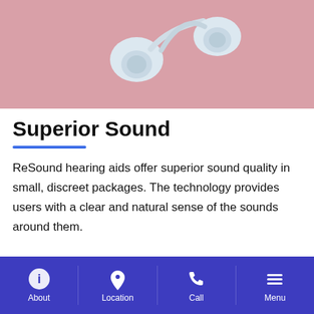[Figure (photo): Pink/rose-colored background with white ReSound hearing aid earbuds shown partially at top]
Superior Sound
ReSound hearing aids offer superior sound quality in small, discreet packages. The technology provides users with a clear and natural sense of the sounds around them.
About | Location | Call | Menu